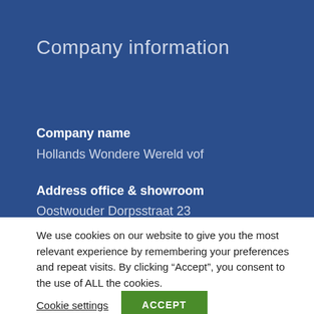Company information
Company name
Hollands Wondere Wereld vof
Address office & showroom
Oostwouder Dorpsstraat 23
We use cookies on our website to give you the most relevant experience by remembering your preferences and repeat visits. By clicking “Accept”, you consent to the use of ALL the cookies.
Cookie settings | ACCEPT